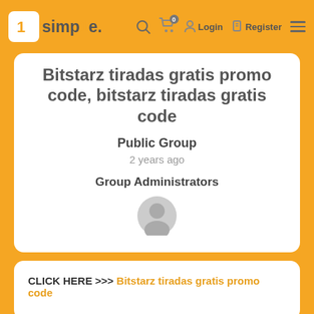1simple. | Login | Register
Bitstarz tiradas gratis promo code, bitstarz tiradas gratis code
Public Group
2 years ago
Group Administrators
[Figure (illustration): Generic user avatar icon - grey silhouette of a person]
CLICK HERE >>> Bitstarz tiradas gratis promo code